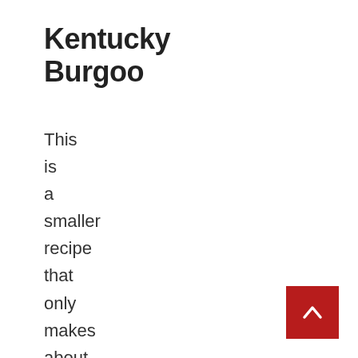Kentucky Burgoo
This is a smaller recipe that only makes about a gallon of stew –
[Figure (other): Dark red scroll-to-top button with a white upward chevron arrow, positioned at bottom right corner]